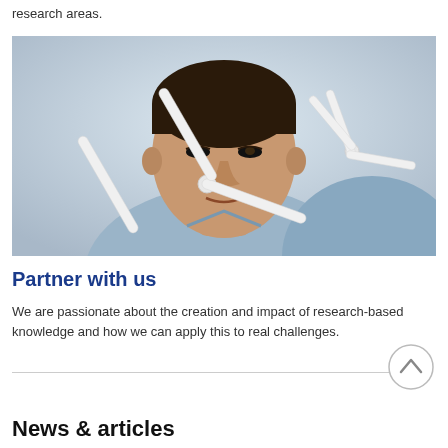research areas.
[Figure (photo): Close-up photo of an Asian man in a light blue shirt examining a white wind turbine model. The turbine blades are prominent in the foreground.]
Partner with us
We are passionate about the creation and impact of research-based knowledge and how we can apply this to real challenges.
News & articles